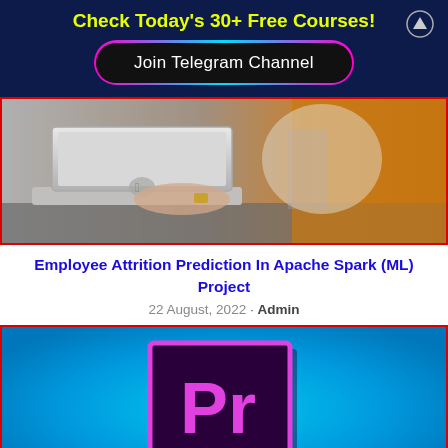Check Today's 30+ Free Courses!
Join Telegram Channel
[Figure (photo): Person using a MacBook laptop at a desk, with a blurred orange/yellow background on the right side. Red border around the image.]
Employee Attrition Prediction In Apache Spark (ML) Project
22 August, 2022 · Admin
[Figure (photo): Adobe Premiere Pro logo on a blue gradient background. Dark purple rectangle with pink 'Pr' letters inside. Red border around the image.]